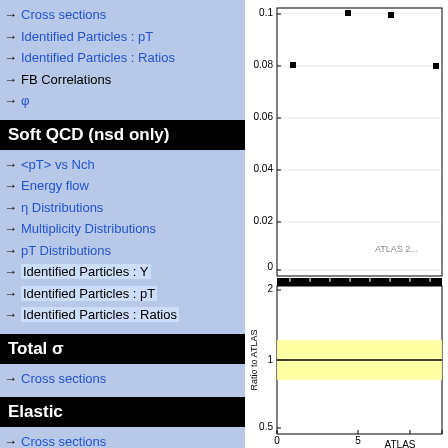→ Cross sections
→ Identified Particles : pT
→ Identified Particles : Ratios
→ FB Correlations
→ φ
Soft QCD (nsd only)
→ <pT> vs Nch
→ Energy flow
→ η Distributions
→ Multiplicity Distributions
→ pT Distributions
→ Identified Particles : Y
→ Identified Particles : pT
→ Identified Particles : Ratios
Total σ
→ Cross sections
Elastic
→ Cross sections
[Figure (scatter-plot): Scatter plot (top panel) showing data points at y values around 0.08-0.1, with y-axis from 0 to 0.1. Bottom ratio panel shows ratio to ATLAS from 0.5 to 2, with yellow band around 1 and a horizontal line at 1. X-axis shows values 0 to ~7. Label ATLAS 2... visible in top panel. Label ATLAS visible in bottom right.]